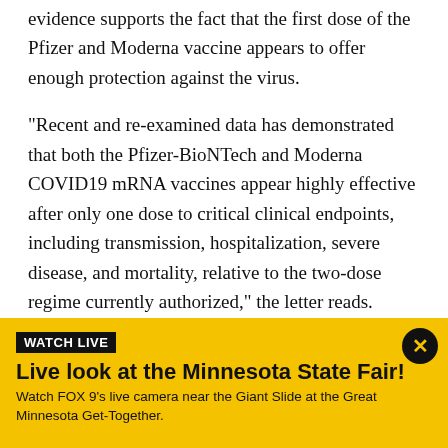evidence supports the fact that the first dose of the Pfizer and Moderna vaccine appears to offer enough protection against the virus.
"Recent and re-examined data has demonstrated that both the Pfizer-BioNTech and Moderna COVID19 mRNA vaccines appear highly effective after only one dose to critical clinical endpoints, including transmission, hospitalization, severe disease, and mortality, relative to the two-dose regime currently authorized," the letter reads.
"As you know, vaccine distribution and administration
[Figure (infographic): Yellow banner with WATCH LIVE badge, title 'Live look at the Minnesota State Fair!', subtitle 'Watch FOX 9's live camera near the Giant Slide at the Great Minnesota Get-Together.' and a black close button with X.]